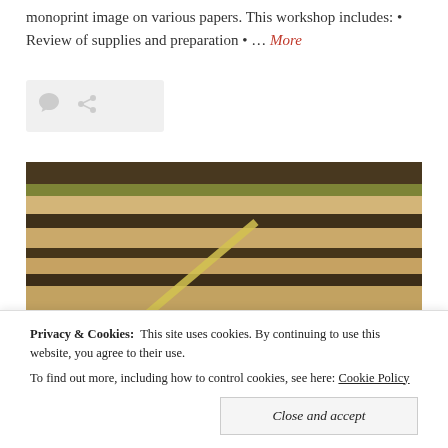monoprint image on various papers. This workshop includes: • Review of supplies and preparation • … More
[Figure (other): Social/share icons bar with comment bubble and share icons on light grey background]
[Figure (photo): Outdoor photo showing layered soil/ground with striped patterns and a yellow diagonal line, vintage/warm-toned]
Privacy & Cookies: This site uses cookies. By continuing to use this website, you agree to their use.
To find out more, including how to control cookies, see here: Cookie Policy
Close and accept
[Figure (photo): Bottom portion of another outdoor photo, partially visible]